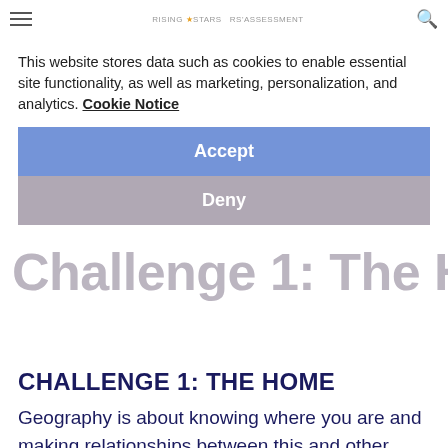RISING STARS RS'ASSESSMENT
This website stores data such as cookies to enable essential site functionality, as well as marketing, personalization, and analytics. Cookie Notice
Accept
Deny
Challenge 1: The Home
CHALLENGE 1: THE HOME
Geography is about knowing where you are and making relationships between this and other locations. Try these out! Tweet me @totalgeography and @risingstarsedu with any discoveries you make! Look out from the FRONT of your house